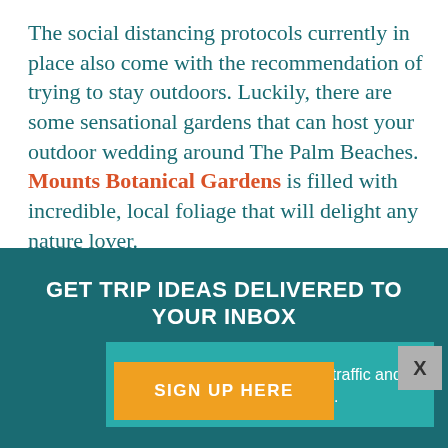The social distancing protocols currently in place also come with the recommendation of trying to stay outdoors. Luckily, there are some sensational gardens that can host your outdoor wedding around The Palm Beaches. Mounts Botanical Gardens is filled with incredible, local foliage that will delight any nature lover. Tra... inc...
We serve cookies to analyze traffic and customize content on this site.
GET TRIP IDEAS DELIVERED TO YOUR INBOX
SIGN UP HERE